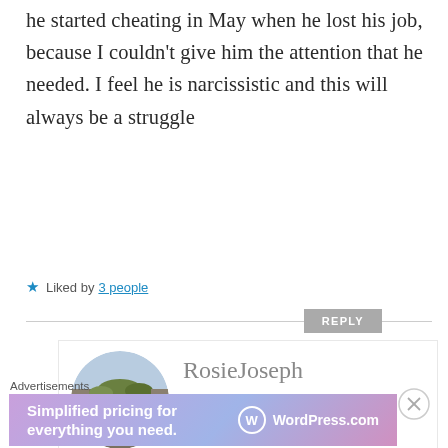he started cheating in May when he lost his job, because I couldn't give him the attention that he needed. I feel he is narcissistic and this will always be a struggle
★ Liked by 3 people
REPLY
RosieJoseph
NOVEMBER 16, 2019 AT 3:56 PM
Advertisements
[Figure (infographic): WordPress.com advertisement banner with gradient pink-blue background. Text: 'Simplified pricing for everything you need.' with WordPress.com logo on the right.]